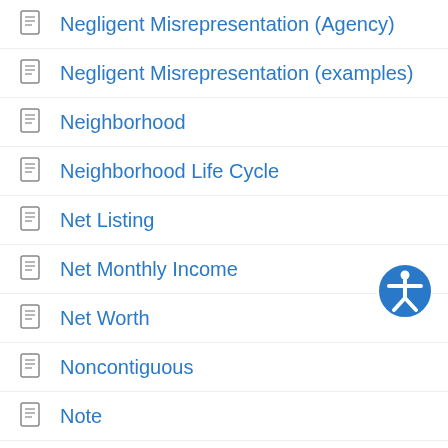Negligent Misrepresentation (Agency)
Negligent Misrepresentation (examples)
Neighborhood
Neighborhood Life Cycle
Net Listing
Net Monthly Income
Net Worth
Noncontiguous
Note
Note Rate
O
Obedience